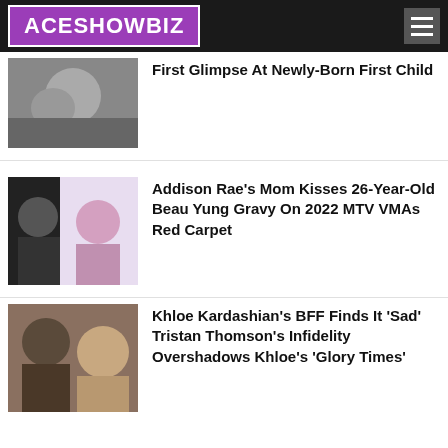ACESHOWBIZ
First Glimpse At Newly-Born First Child
Addison Rae's Mom Kisses 26-Year-Old Beau Yung Gravy On 2022 MTV VMAs Red Carpet
Khloe Kardashian's BFF Finds It 'Sad' Tristan Thomson's Infidelity Overshadows Khloe's 'Glory Times'